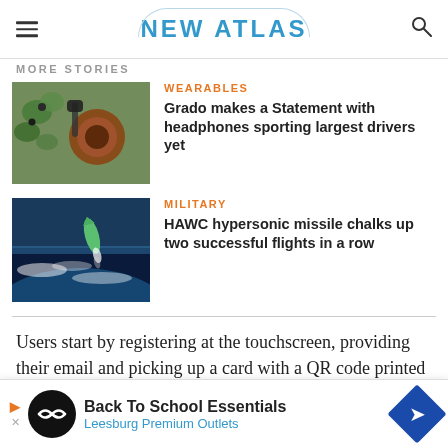NEW ATLAS
MORE STORIES
[Figure (photo): Headphones hanging on green plant - Grado headphones with brown/copper drivers]
WEARABLES
Grado makes a Statement with headphones sporting largest drivers yet
[Figure (photo): Hypersonic missile in flight above Earth atmosphere - blue sky and clouds]
MILITARY
HAWC hypersonic missile chalks up two successful flights in a row
Users start by registering at the touchscreen, providing their email and picking up a card with a QR code printed on it (an identifier such as an RFID bracelet can also be provided). When they subse
[Figure (infographic): Advertisement banner: Back To School Essentials - Leesburg Premium Outlets]